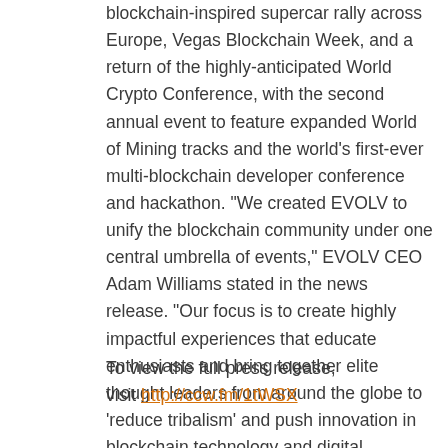blockchain-inspired supercar rally across Europe, Vegas Blockchain Week, and a return of the highly-anticipated World Crypto Conference, with the second annual event to feature expanded World of Mining tracks and the world's first-ever multi-blockchain developer conference and hackathon. "We created EVOLV to unify the blockchain community under one central umbrella of events," EVOLV CEO Adam Williams stated in the news release. "Our focus is to create highly impactful experiences that educate enthusiasts and bring together elite thought leaders from around the globe to 'reduce tribalism' and push innovation in blockchain technology and digital currency to the next level."
To view the full press release, visit http://ccw.fm/1tWSX